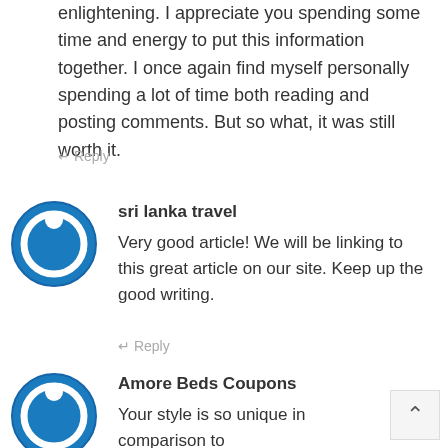enlightening. I appreciate you spending some time and energy to put this information together. I once again find myself personally spending a lot of time both reading and posting comments. But so what, it was still worth it.
↵ Reply
sri lanka travel
Very good article! We will be linking to this great article on our site. Keep up the good writing.
↵ Reply
Amore Beds Coupons
Your style is so unique in comparison to